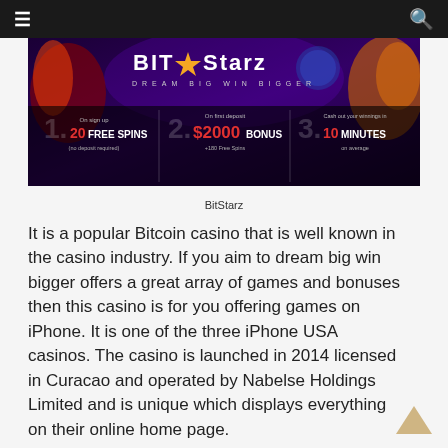Navigation bar with hamburger menu and search icon
[Figure (screenshot): BitStarz casino banner advertisement showing logo, tagline 'DREAM BIG WIN BIGGER', and three promotional offers: 1. On sign up 20 FREE SPINS (no deposit required), 2. On first deposit $2000 BONUS +180 Free Spins, 3. Cash out your winnings in 10 MINUTES on average]
BitStarz
It is a popular Bitcoin casino that is well known in the casino industry. If you aim to dream big win bigger offers a great array of games and bonuses then this casino is for you offering games on iPhone. It is one of the three iPhone USA casinos. The casino is launched in 2014 licensed in Curacao and operated by Nabelse Holdings Limited and is unique which displays everything on their online home page.